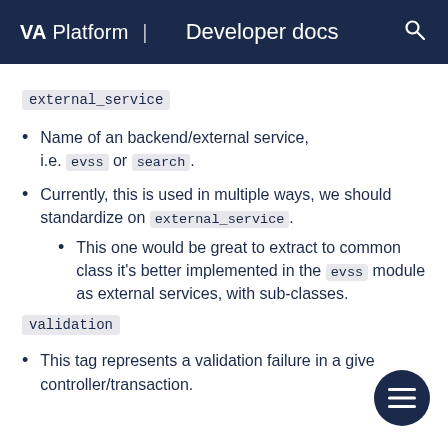VA Platform | Developer docs
external_service
Name of an backend/external service, i.e. evss or search.
Currently, this is used in multiple ways, we should standardize on external_service.
This one would be great to extract to common class it's better implemented in the evss module as external services, with sub-classes.
validation
This tag represents a validation failure in a given controller/transaction.